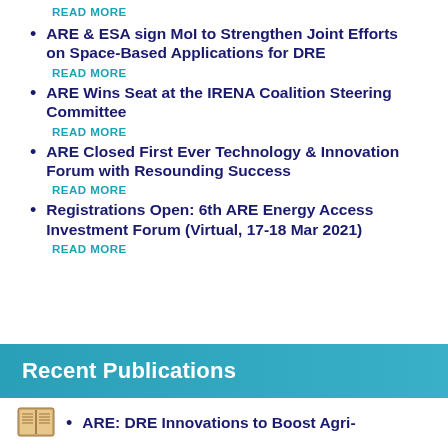READ MORE
ARE & ESA sign MoI to Strengthen Joint Efforts on Space-Based Applications for DRE
READ MORE
ARE Wins Seat at the IRENA Coalition Steering Committee
READ MORE
ARE Closed First Ever Technology & Innovation Forum with Resounding Success
READ MORE
Registrations Open: 6th ARE Energy Access Investment Forum (Virtual, 17-18 Mar 2021)
READ MORE
Recent Publications
ARE: DRE Innovations to Boost Agri-